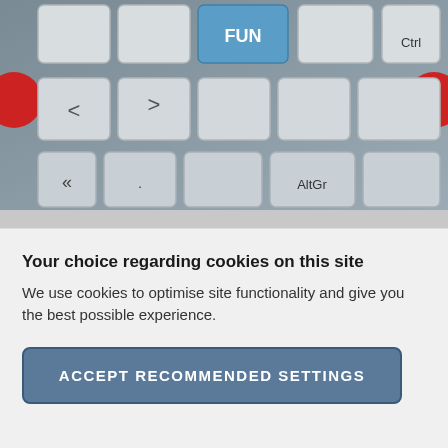[Figure (photo): Close-up photograph of a computer keyboard with white/grey keys. A blue key labeled 'FUN' is visible at the top center, and a 'Ctrl' key is visible at the top right. 'AltGr' key label is visible at the bottom right area. Two red circular elements partially visible at sides.]
It is quite normal for a charity to have a wholly owned trading subsidiary. These trading subsidiaries are usually set up for one of two reasons – to ring fence a risky charitable activity away from the main charity or
Your choice regarding cookies on this site
We use cookies to optimise site functionality and give you the best possible experience.
ACCEPT RECOMMENDED SETTINGS